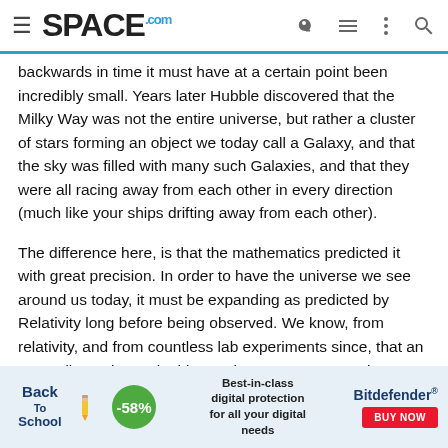SPACE.com
backwards in time it must have at a certain point been incredibly small. Years later Hubble discovered that the Milky Way was not the entire universe, but rather a cluster of stars forming an object we today call a Galaxy, and that the sky was filled with many such Galaxies, and that they were all racing away from each other in every direction (much like your ships drifting away from each other).
The difference here, is that the mathematics predicted it with great precision. In order to have the universe we see around us today, it must be expanding as predicted by Relativity long before being observed. We know, from relativity, and from countless lab experiments since, that an expanding universe in this way is nessecary not only to account for the observation of receeding galaxies, but for the very formation of matter itself. Countless experiments have been performed which support the model, leading us to be very confident that it is correct.
It is not MERELY that ...
[Figure (screenshot): Advertisement banner: Back to School promotion with -58% discount, Best-in-class digital protection for all your digital needs, Bitdefender BUY NOW button]